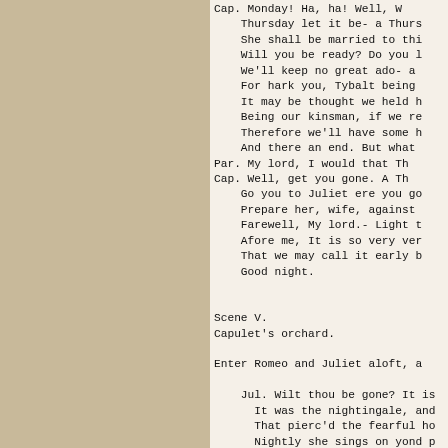Cap. Monday! Ha, ha! Well, Wednesday is too soon,
    Thursday let it be- a Thursday, tell her,
    She shall be married to this noble earl.
    Will you be ready? Do you like this haste?
    We'll keep no great ado- a friend or two;
    For hark you, Tybalt being slain so late,
    It may be thought we held him carelessly,
    Being our kinsman, if we revel much.
    Therefore we'll have some half a dozen friends,
    And there an end. But what say you to Thursday?
Par. My lord, I would that Thursday were to-morrow.
Cap. Well, get you gone. A Thursday be it then.
    Go you to Juliet ere you go to bed;
    Prepare her, wife, against this wedding day.
    Farewell, My lord.- Light to my chamber, ho!
    Afore me, It is so very very late
    That we may call it early by-and-by.
    Good night.

Scene V.
Capulet's orchard.

Enter Romeo and Juliet aloft, a

    Jul. Wilt thou be gone? It is
        It was the nightingale, and
        That pierc'd the fearful ho
        Nightly she sings on yond p
        Believe me, love, it was th
    Rom. It was the lark, the her
        No nightingale. Look, love,
        Do lace the severing clouds